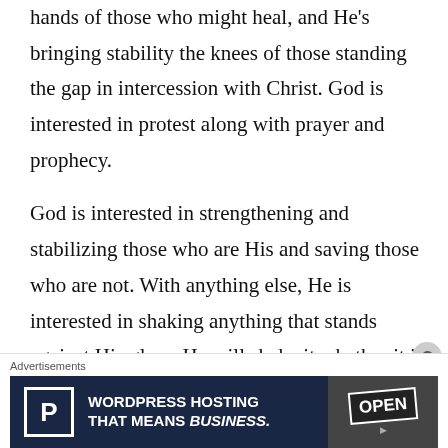hands of those who might heal, and He's bringing stability the knees of those standing the gap in intercession with Christ. God is interested in protest along with prayer and prophecy.

God is interested in strengthening and stabilizing those who are His and saving those who are not. With anything else, He is interested in shaking anything that stands against His glory. He will shake it whether it is inside or outside the Church. Racism and disunity is shook;
Advertisements
[Figure (other): WordPress Hosting advertisement banner with 'P' logo on dark navy background and OPEN sign photo on right side. Text reads: WORDPRESS HOSTING THAT MEANS BUSINESS.]